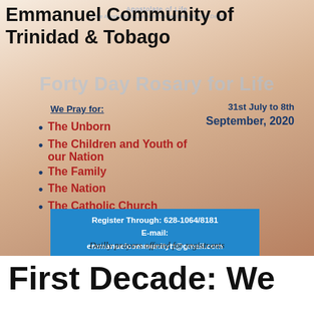Emmanuel Community of Trinidad & Tobago
[Figure (infographic): Forty Day Rosary for Life flyer with rosary beads background image. Contains: title 'Forty Day Rosary for Life', subtitle 'Apostolate of Life', date '31st July to 8th September, 2020', prayer intentions list (The Unborn, The Children and Youth of our Nation, The Family, The Nation, The Catholic Church), registration info box with phone 628-1064/8181 and email emmanuelcommunitytt@gmail.com, footer text 'Dailly prayers offered for registrants']
First Decade: We